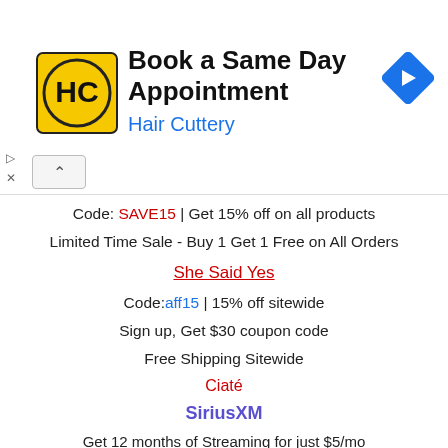[Figure (advertisement): Hair Cuttery ad banner with logo (HC in yellow circle), text 'Book a Same Day Appointment / Hair Cuttery', and a blue navigation arrow icon. Ad controls (play and close) on left.]
Code: SAVE15 | Get 15% off on all products
Limited Time Sale - Buy 1 Get 1 Free on All Orders
She Said Yes
Code:aff15 | 15% off sitewide
Sign up, Get $30 coupon code
Free Shipping Sitewide
Ciaté
SiriusXM
Get 12 months of Streaming for just $5/mo